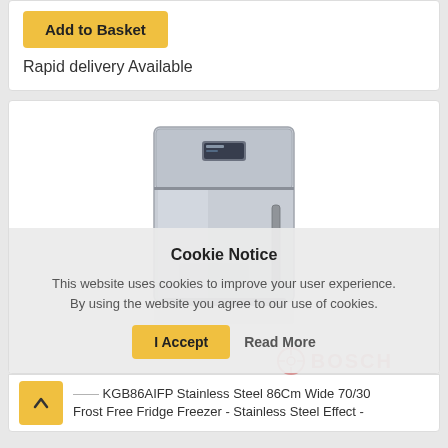Add to Basket
Rapid delivery Available
[Figure (photo): Bosch stainless steel fridge freezer product photo]
Cookie Notice
This website uses cookies to improve your user experience. By using the website you agree to our use of cookies.
I Accept
Read More
Bosch KGB86AIFP Stainless Steel 86Cm Wide 70/30 Frost Free Fridge Freezer - Stainless Steel Effect -